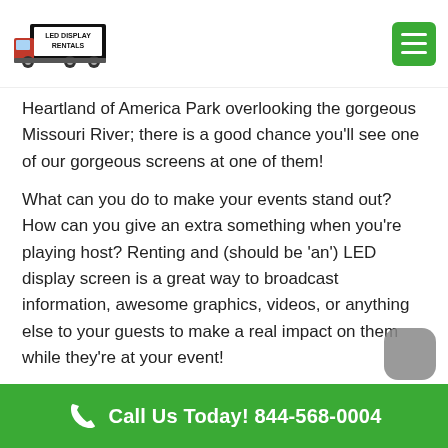[Figure (logo): LED Display Rentals logo with truck graphic and menu hamburger icon in green]
Heartland of America Park overlooking the gorgeous Missouri River; there is a good chance you'll see one of our gorgeous screens at one of them!
What can you do to make your events stand out? How can you give an extra something when you're playing host? Renting and (should be 'an') LED display screen is a great way to broadcast information, awesome graphics, videos, or anything else to your guests to make a real impact on them while they're at your event!
Omaha LED Display Rental
Call Us Today! 844-568-0004